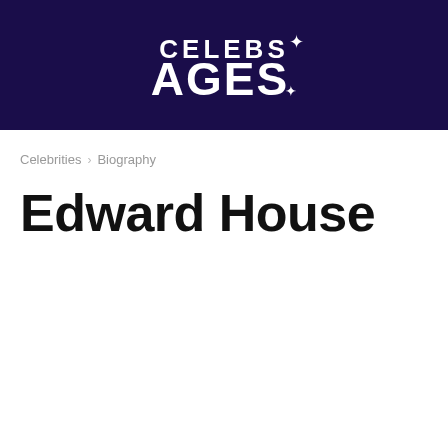[Figure (logo): Celebs Ages logo — white bold text on dark navy background]
Celebrities › Biography
Edward House